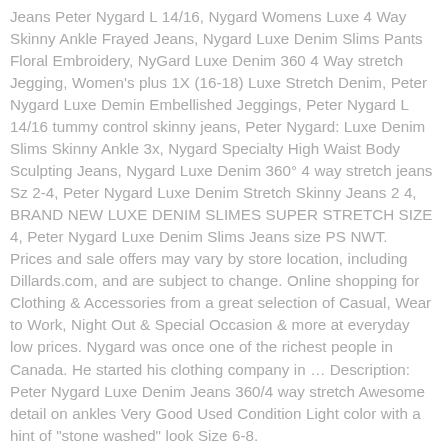Jeans Peter Nygard L 14/16, Nygard Womens Luxe 4 Way Skinny Ankle Frayed Jeans, Nygard Luxe Denim Slims Pants Floral Embroidery, NyGard Luxe Denim 360 4 Way stretch Jegging, Women's plus 1X (16-18) Luxe Stretch Denim, Peter Nygard Luxe Demin Embellished Jeggings, Peter Nygard L 14/16 tummy control skinny jeans, Peter Nygard: Luxe Denim Slims Skinny Ankle 3x, Nygard Specialty High Waist Body Sculpting Jeans, Nygard Luxe Denim 360° 4 way stretch jeans Sz 2-4, Peter Nygard Luxe Denim Stretch Skinny Jeans 2 4, BRAND NEW LUXE DENIM SLIMES SUPER STRETCH SIZE 4, Peter Nygard Luxe Denim Slims Jeans size PS NWT. Prices and sale offers may vary by store location, including Dillards.com, and are subject to change. Online shopping for Clothing & Accessories from a great selection of Casual, Wear to Work, Night Out & Special Occasion & more at everyday low prices. Nygard was once one of the richest people in Canada. He started his clothing company in ... Description: Peter Nygard Luxe Denim Jeans 360/4 way stretch Awesome detail on ankles Very Good Used Condition Light color with a hint of "stone washed" look Size 6-8.